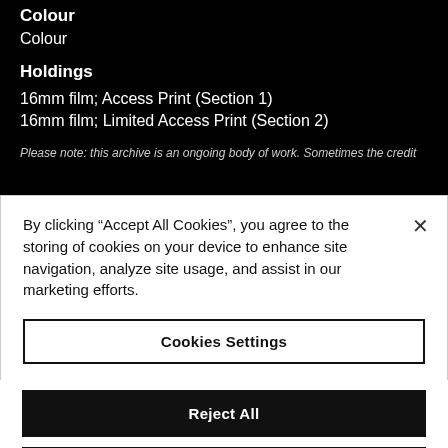Colour
Colour
Holdings
16mm film; Access Print (Section 1)
16mm film; Limited Access Print (Section 2)
Please note: this archive is an ongoing body of work. Sometimes the credit
By clicking “Accept All Cookies”, you agree to the storing of cookies on your device to enhance site navigation, analyze site usage, and assist in our marketing efforts.
Cookies Settings
Reject All
Accept All Cookies